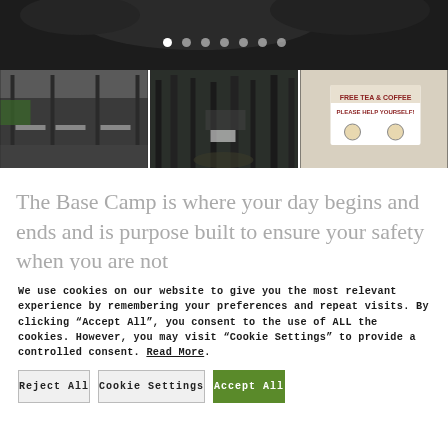[Figure (photo): Website screenshot showing a dark outdoor/forest scene at top with navigation dots, then three thumbnail photos: outdoor shelter/dining area, forest path, and a sign reading FREE TEA & COFFEE PLEASE HELP YOURSELF]
The Base Camp is where your day begins and ends and is purpose built to ensure your safety when you are not
We use cookies on our website to give you the most relevant experience by remembering your preferences and repeat visits. By clicking “Accept All”, you consent to the use of ALL the cookies. However, you may visit “Cookie Settings” to provide a controlled consent. Read More.